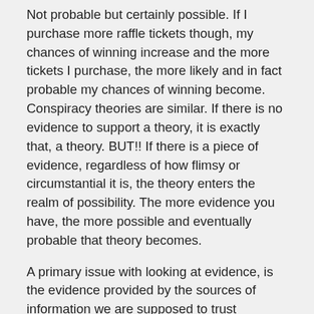Not probable but certainly possible. If I purchase more raffle tickets though, my chances of winning increase and the more tickets I purchase, the more likely and in fact probable my chances of winning become. Conspiracy theories are similar. If there is no evidence to support a theory, it is exactly that, a theory. BUT!! If there is a piece of evidence, regardless of how flimsy or circumstantial it is, the theory enters the realm of possibility. The more evidence you have, the more possible and eventually probable that theory becomes.
A primary issue with looking at evidence, is the evidence provided by the sources of information we are supposed to trust generally falls under the category of being socially believed regardless of its validity. The societal consensus is the media would never deliberately lie to perpetuate an even greater lie. I believe this is grossly naive. Consider this passage from Jim Marrs book Rule By S...